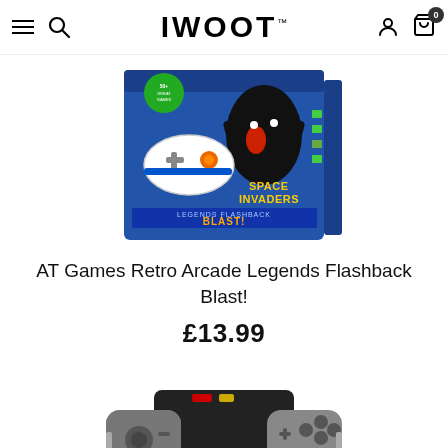IWOOT
[Figure (photo): AT Games Retro Arcade Legends Flashback Blast product box showing Space Invaders characters and a handheld controller]
AT Games Retro Arcade Legends Flashback Blast!
£13.99
[Figure (photo): Nintendo Switch Joy-Con charging dock holding four grey Joy-Con controllers]